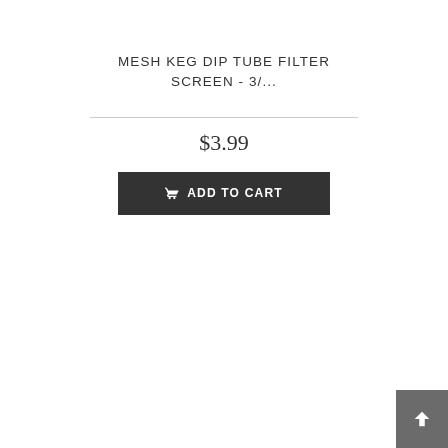MESH KEG DIP TUBE FILTER SCREEN - 3/...
$3.99
[Figure (screenshot): Dark gray 'Add to Cart' button with shopping cart icon and uppercase text 'ADD TO CART']
[Figure (other): Gray back-to-top button with upward chevron arrow in bottom-right corner]